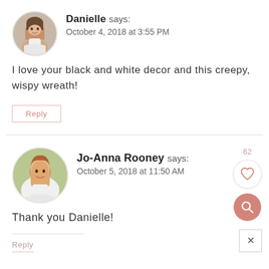[Figure (photo): Circular avatar of Danielle, a woman with dark hair, smiling, light background]
Danielle says: October 4, 2018 at 3:55 PM
I love your black and white decor and this creepy, wispy wreath!
Reply
[Figure (photo): Circular avatar of Jo-Anna Rooney, a woman with reddish-brown hair, wearing white, outdoor background]
Jo-Anna Rooney says: October 5, 2018 at 11:50 AM
Thank you Danielle!
Reply